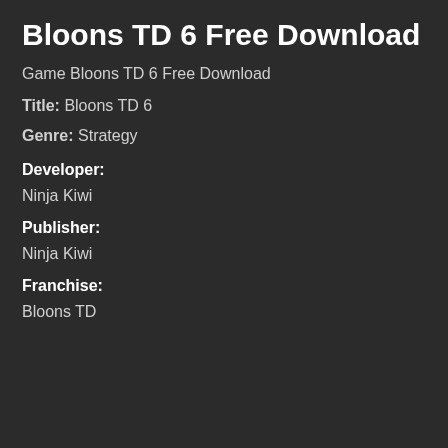Bloons TD 6 Free Download
Game Bloons TD 6 Free Download
Title: Bloons TD 6
Genre: Strategy
Developer:
Ninja Kiwi
Publisher:
Ninja Kiwi
Franchise:
Bloons TD